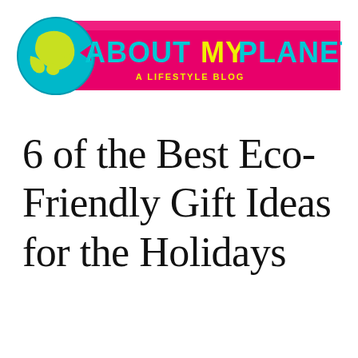[Figure (logo): About My Planet - A Lifestyle Blog logo. Features a globe icon on the left, bold text 'ABOUTMYPLANET' in teal/cyan and yellow-green colors on a pink/magenta diagonal banner background, with 'A LIFESTYLE BLOG' in smaller text below.]
6 of the Best Eco-Friendly Gift Ideas for the Holidays